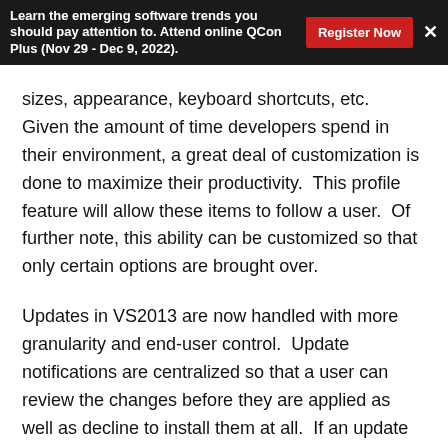Learn the emerging software trends you should pay attention to. Attend online QCon Plus (Nov 29 - Dec 9, 2022).
sizes, appearance, keyboard shortcuts, etc.  Given the amount of time developers spend in their environment, a great deal of customization is done to maximize their productivity.  This profile feature will allow these items to follow a user.  Of further note, this ability can be customized so that only certain options are brought over.
Updates in VS2013 are now handled with more granularity and end-user control.  Update notifications are centralized so that a user can review the changes before they are applied as well as decline to install them at all.  If an update is reviewed and declined, the system will stop prompting the user to install it.  Updates are also marked by yellow or red to mark their importance.